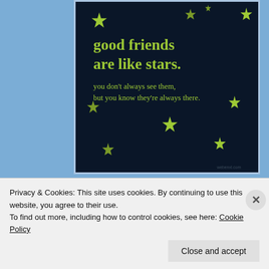[Figure (illustration): Dark navy background with yellow-green stars scattered around. Text reads 'good friends are like stars. you don't always see them, but you know they're always there.' with small watermark at bottom right.]
30  Where Dreams
Privacy & Cookies: This site uses cookies. By continuing to use this website, you agree to their use.
To find out more, including how to control cookies, see here: Cookie Policy
Close and accept